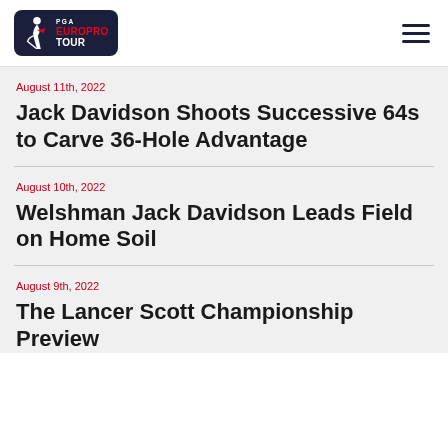[Figure (logo): PGA EuroPro Tour logo — dark navy rounded rectangle with golfer silhouette icon, 'PGA' in small white caps, 'EUROPRO' in red bold, 'TOUR' in white bold]
August 11th, 2022
Jack Davidson Shoots Successive 64s to Carve 36-Hole Advantage
August 10th, 2022
Welshman Jack Davidson Leads Field on Home Soil
August 9th, 2022
The Lancer Scott Championship Preview